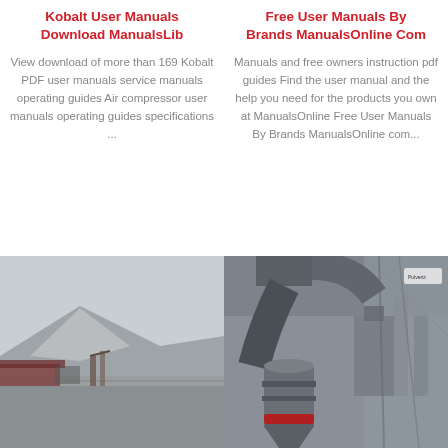Kobalt User Manuals Download ManualsLib
View download of more than 169 Kobalt PDF user manuals service manuals operating guides Air compressor user manuals operating guides specifications ...
Free User Manuals By Brands ManualsOnline Com
Manuals and free owners instruction pdf guides Find the user manual and the help you need for the products you own at ManualsOnline Free User Manuals By Brands ManualsOnline com...
[Figure (photo): Outdoor quarry or mining site with large mound of crushed stone/gravel, industrial conveyor belt structures visible at the base, overcast sky.]
[Figure (photo): Industrial machinery close-up showing large pipes, ducts, hoppers, and mechanical components of what appears to be an air compressor or industrial processing plant.]